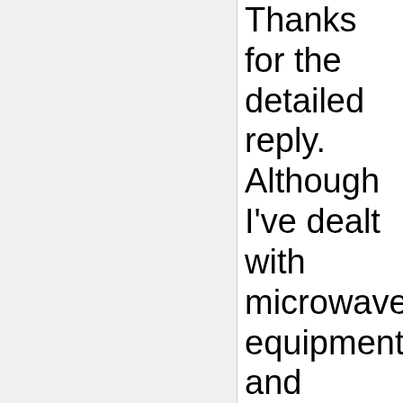Thanks for the detailed reply. Although I've dealt with microwave equipment and microwave signals for years, this area of it is new to